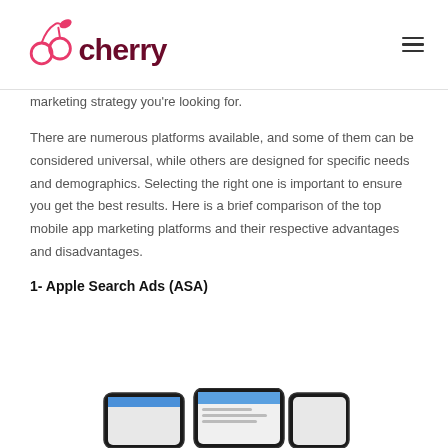cherry (logo)
marketing strategy you're looking for.
There are numerous platforms available, and some of them can be considered universal, while others are designed for specific needs and demographics. Selecting the right one is important to ensure you get the best results. Here is a brief comparison of the top mobile app marketing platforms and their respective advantages and disadvantages.
1- Apple Search Ads (ASA)
[Figure (photo): Two smartphone screens showing mobile app ads, partially visible at the bottom of the page]